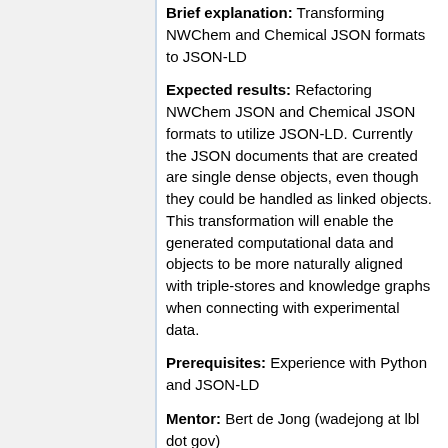Brief explanation: Transforming NWChem and Chemical JSON formats to JSON-LD
Expected results: Refactoring NWChem JSON and Chemical JSON formats to utilize JSON-LD. Currently the JSON documents that are created are single dense objects, even though they could be handled as linked objects. This transformation will enable the generated computational data and objects to be more naturally aligned with triple-stores and knowledge graphs when connecting with experimental data.
Prerequisites: Experience with Python and JSON-LD
Mentor: Bert de Jong (wadejong at lbl dot gov)
DeepChem Project Ideas